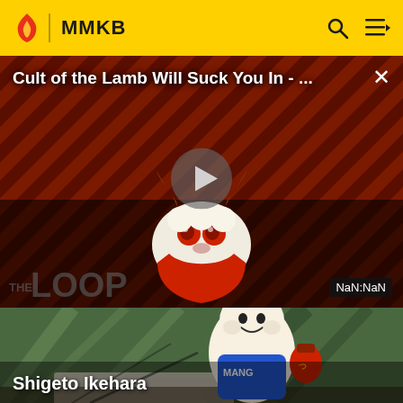MMKB
Cult of the Lamb Will Suck You In - ...
[Figure (screenshot): Video thumbnail showing a cartoon lamb character with devil horns and red eyes against a dark red diagonal striped background. A play button triangle is centered. 'THE LOOP' text appears in lower left. Timestamp shows NaN:NaN in bottom right corner.]
[Figure (illustration): Cartoon manga-style character wearing a blue shirt with 'MANGA' text, holding a red ink bottle, leaning over drawing paper. Green background with speed lines.]
Shigeto Ikehara